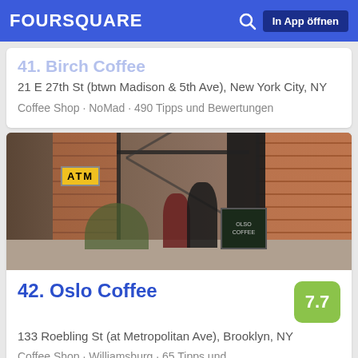FOURSQUARE  In App öffnen
21 E 27th St (btwn Madison & 5th Ave), New York City, NY
Coffee Shop · NoMad · 490 Tipps und Bewertungen
[Figure (photo): Street photo showing a brick building exterior with an ATM sign, metal-framed windows, potted plants, two people standing outside, and a chalkboard sign. Brooklyn coffee shop exterior.]
42. Oslo Coffee
133 Roebling St (at Metropolitan Ave), Brooklyn, NY
Coffee Shop · Williamsburg · 65 Tipps und